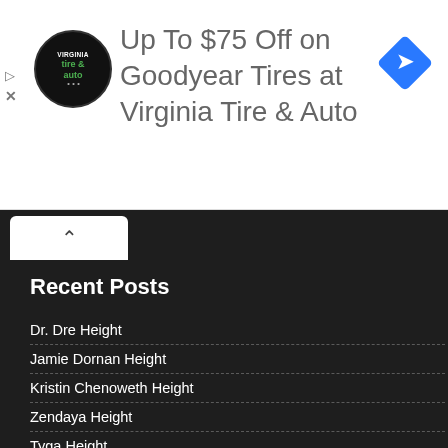[Figure (other): Advertisement banner for Virginia Tire & Auto featuring Goodyear tires discount offer of up to $75 off, with tire & auto logo on left and blue diamond navigation icon on right]
Recent Posts
Dr. Dre Height
Jamie Dornan Height
Kristin Chenoweth Height
Zendaya Height
Tyga Height